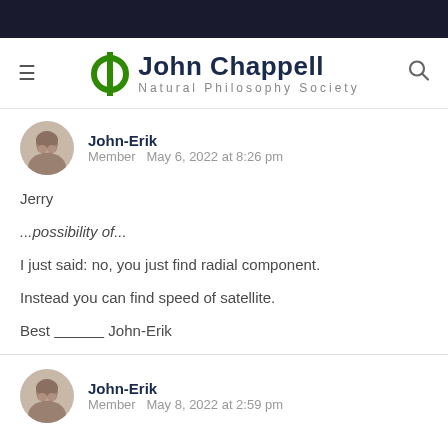John Chappell Natural Philosophy Society
John-Erik
Member  May 6, 2022 at 8:26 pm

Jerry

...possibility of...

I just said: no, you just find radial component.

Instead you can find speed of satellite.

Best __________ John-Erik
John-Erik
Member  May 8, 2022 at 2:59 pm